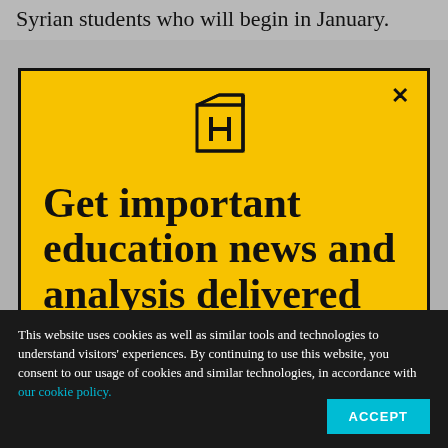Syrian students who will begin in January.
[Figure (screenshot): Modal popup with yellow background showing Hechinger Report logo (H in a box icon) and newsletter signup headline: 'Get important education news and analysis delivered']
This website uses cookies as well as similar tools and technologies to understand visitors' experiences. By continuing to use this website, you consent to our usage of cookies and similar technologies, in accordance with our cookie policy.
ACCEPT